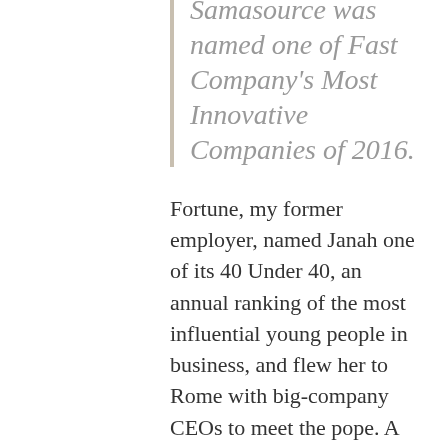Samasource was named one of Fast Company's Most Innovative Companies of 2016.
Fortune, my former employer, named Janah one of its 40 Under 40, an annual ranking of the most influential young people in business, and flew her to Rome with big-company CEOs to meet the pope. A story by Laura Arrillaga-Andreesen in The New York Times' T Magazine named her one of Five Visionary Tech Entrepreneurs Who Are Changing the World.